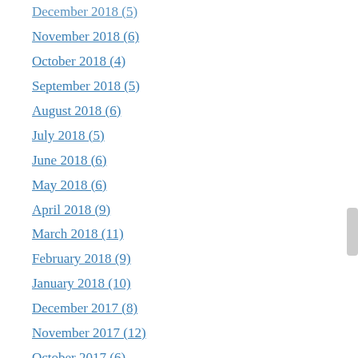December 2018 (5)
November 2018 (6)
October 2018 (4)
September 2018 (5)
August 2018 (6)
July 2018 (5)
June 2018 (6)
May 2018 (6)
April 2018 (9)
March 2018 (11)
February 2018 (9)
January 2018 (10)
December 2017 (8)
November 2017 (12)
October 2017 (6)
September 2017 (10)
August 2017 (10)
July 2017 (1)